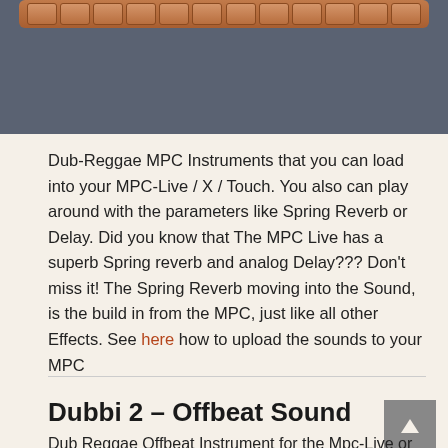[Figure (photo): Dark gray background image showing top portion of a music instrument/keyboard, with a horizontal orange/brown bar at the top resembling keyboard keys.]
Dub-Reggae MPC Instruments that you can load into your MPC-Live / X / Touch. You also can play around with the parameters like Spring Reverb or Delay. Did you know that The MPC Live has a superb Spring reverb and analog Delay??? Don't miss it! The Spring Reverb moving into the Sound, is the build in from the MPC, just like all other Effects. See here how to upload the sounds to your MPC
Dubbi 2 – Offbeat Sound
Dub Reggae Offbeat Instrument for the Mpc-Live or X or